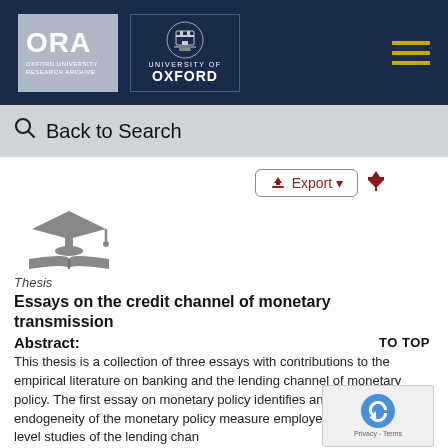[Figure (logo): ORA Oxford University Research Archive logo and University of Oxford crest logo on dark navy header]
Back to Search
[Figure (illustration): Graduation cap and open book icon representing a thesis]
Thesis
Essays on the credit channel of monetary transmission
Abstract:
This thesis is a collection of three essays with contributions to the empirical literature on banking and the lending channel of monetary policy. The first essay on monetary policy identifies and addresses the endogeneity of the monetary policy measure employed in most bank level studies of the lending channel, and identifies a new measure of monetary